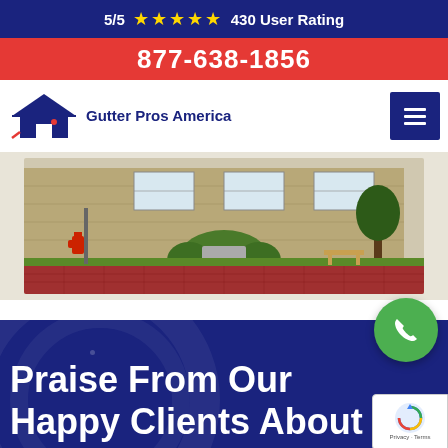5/5 ★★★★★ 430 User Rating
877-638-1856
[Figure (logo): Gutter Pros America logo with house icon]
[Figure (photo): Street-level photo of a brick building with green shrubs and red brick sidewalk]
Praise From Our Happy Clients About